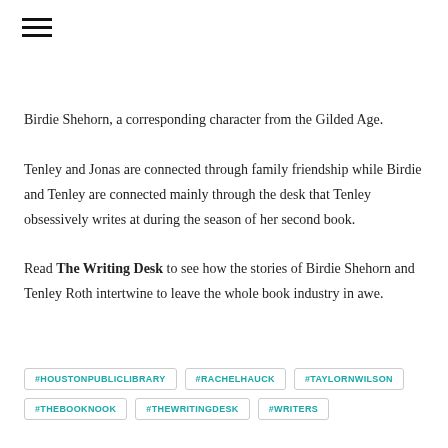≡
Birdie Shehorn, a corresponding character from the Gilded Age. Tenley and Jonas are connected through family friendship while Birdie and Tenley are connected mainly through the desk that Tenley obsessively writes at during the season of her second book.

Read The Writing Desk to see how the stories of Birdie Shehorn and Tenley Roth intertwine to leave the whole book industry in awe.
#HOUSTONPUBLICLIBRARY
#RACHELHAUCK
#TAYLORNWILSON
#THEBOOKNOOK
#THEWRITINGDESK
#WRITERS